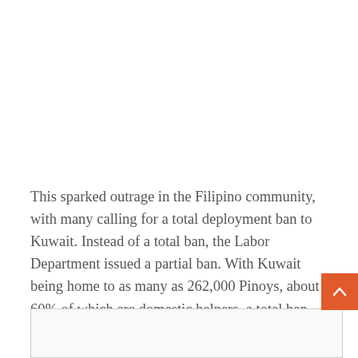This sparked outrage in the Filipino community, with many calling for a total deployment ban to Kuwait. Instead of a total ban, the Labor Department issued a partial ban. With Kuwait being home to as many as 262,000 Pinoys, about 60% of which are domestic helpers, a total ban would deeply hurt the Philippine economy as remittances from OFWs are considered a ‘lifeline’, the foreign ministry said.